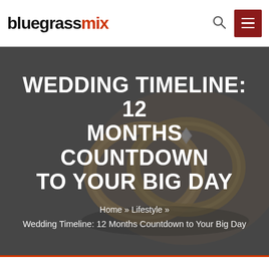bluegrassmix
[Figure (photo): Wedding rings close-up on dark background, forming the hero banner image]
WEDDING TIMELINE: 12 MONTHS COUNTDOWN TO YOUR BIG DAY
Home » Lifestyle »
Wedding Timeline: 12 Months Countdown to Your Big Day